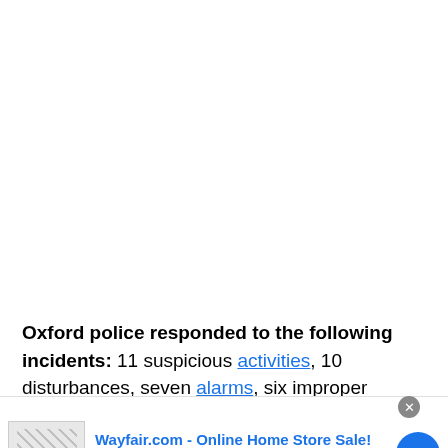Oxford police responded to the following incidents: 11 suspicious activities, 10 disturbances, seven alarms, six improper parking, six welfare rns, six careless driving, six petit larcenies, six
[Figure (screenshot): Infolinks advertisement overlay bar with Wayfair.com ad showing 'Wayfair.com - Online Home Store Sale!' with shop description and arrow button]